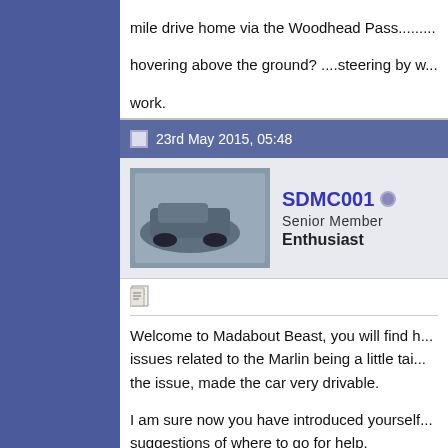mile drive home via the Woodhead Pass......... hovering above the ground? ....steering by w... work.
23rd May 2015, 05:48
SDMC001
Senior Member
Enthusiast
Welcome to Madabout Beast, you will find h... issues related to the Marlin being a little tai... the issue, made the car very drivable.

I am sure now you have introduced yourself... suggestions of where to go for help.